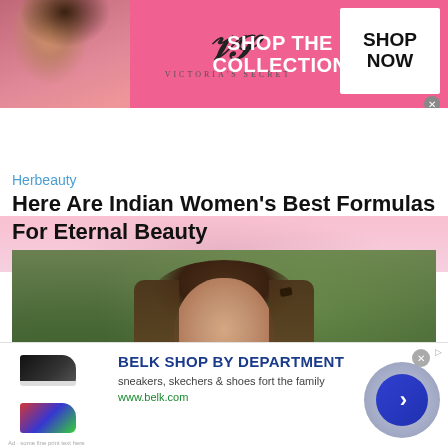[Figure (photo): Victoria's Secret advertisement banner with model, VS logo, 'SHOP THE COLLECTION' text, and 'SHOP NOW' button]
[Figure (photo): Pink/peach background strip]
Herbeauty
Here Are Indian Women's Best Formulas For Eternal Beauty
[Figure (photo): Portrait photo of a young girl with long brown hair looking slightly to the side, against a blurred green outdoor background]
[Figure (photo): Belk advertisement: 'BELK SHOP BY DEPARTMENT' with shoe images, text 'sneakers, skechers & shoes fort the family', URL 'www.belk.com', and circular navigation arrow button]